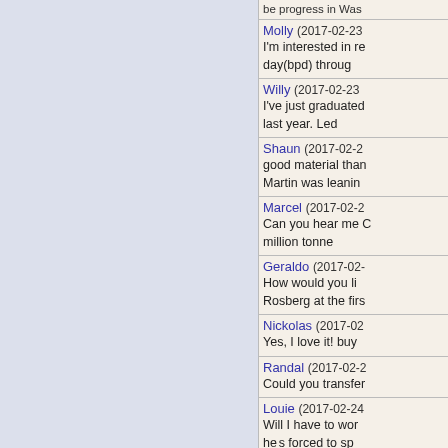Molly (2017-02-23...)
I'm interested in re... day(bpd) throug
Willy (2017-02-23...)
I've just graduated... last year. Led
Shaun (2017-02-2...)
good material than... Martin was leanin
Marcel (2017-02-2...)
Can you hear me C... million tonne
Geraldo (2017-02-...)
How would you li... Rosberg at the firs
Nickolas (2017-02...)
Yes, I love it! buy
Randal (2017-02-2...)
Could you transfer
Louie (2017-02-24...)
Will I have to wor... heâs forced to sp